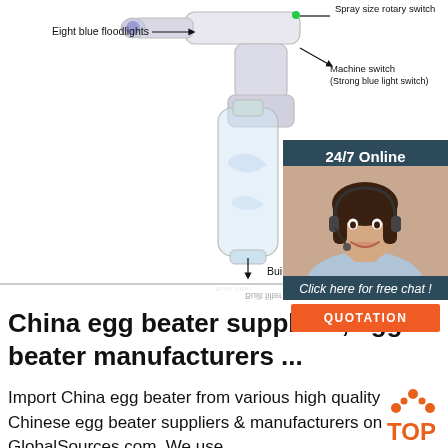[Figure (schematic): Product diagram of a handheld nano spray gun / blue light disinfection sprayer with labeled parts: Eight blue floodlights (left), Spray size rotary switch (top right), Machine switch / Strong blue light switch (right), Built filter (bottom center). Below is a faint mirror reflection of the device.]
[Figure (photo): 24/7 Online chat widget panel showing a smiling female customer service representative wearing a headset, with dark teal background, text 'Click here for free chat!' and an orange QUOTATION button.]
China egg beater suppliers, egg beater manufacturers ...
Import China egg beater from various high quality Chinese egg beater suppliers & manufacturers on GlobalSources.com. We use